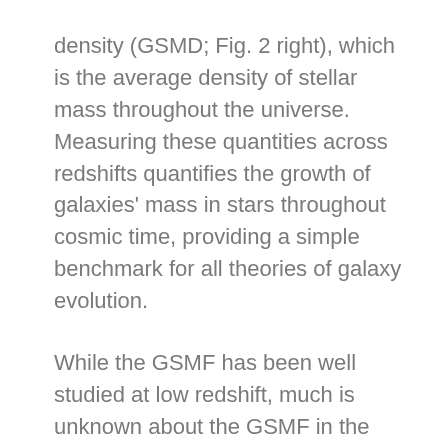density (GSMD; Fig. 2 right), which is the average density of stellar mass throughout the universe. Measuring these quantities across redshifts quantifies the growth of galaxies' mass in stars throughout cosmic time, providing a simple benchmark for all theories of galaxy evolution.
While the GSMF has been well studied at low redshift, much is unknown about the GSMF in the